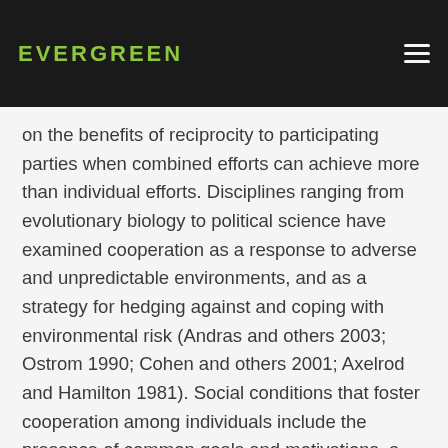EVERGREEN
on the benefits of reciprocity to participating parties when combined efforts can achieve more than individual efforts. Disciplines ranging from evolutionary biology to political science have examined cooperation as a response to adverse and unpredictable environments, and as a strategy for hedging against and coping with environmental risk (Andras and others 2003; Ostrom 1990; Cohen and others 2001; Axelrod and Hamilton 1981). Social conditions that foster cooperation among individuals include the presence of common goals and motivations, a perception of common problems (including risks), the use of similar communication styles, high levels